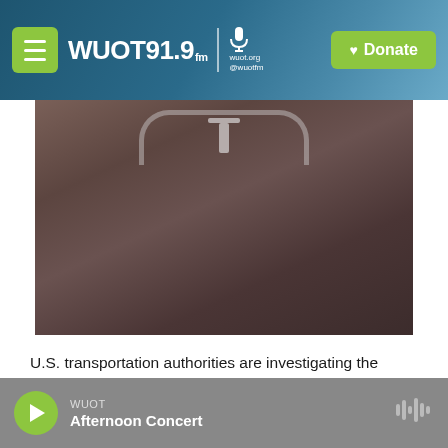WUOT 91.9 FM | wuot.org @wuotfm | Donate
[Figure (photo): Close-up photo of a dark brownish-gray Tesla Model S car roof/windshield area showing the Tesla logo at the top]
U.S. transportation authorities are investigating the deadly collision of a Tesla Model S car. And many reports say the fatal crash has heightened concern about self-driving cars. Which may be true. Except – Model S isn't a self-driving car.
WUOT
Afternoon Concert